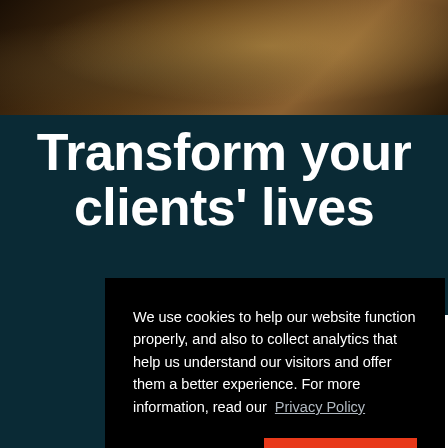[Figure (photo): Dark outdoor photo strip showing people on grass with warm sunlight, partially visible at top of page]
Transform your clients' lives
We use cookies to help our website function properly, and also to collect analytics that help us understand our visitors and offer them a better experience. For more information, read our Privacy Policy
No, thanks.
I AGREE